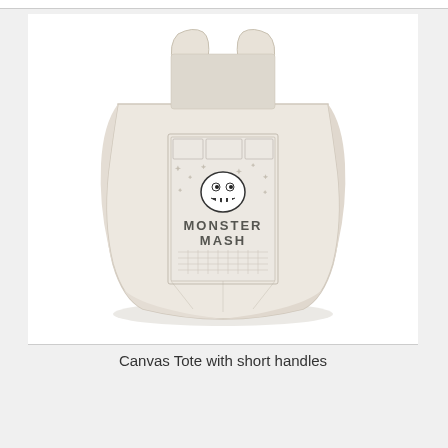[Figure (photo): A canvas tote bag with short handles. The bag is made of natural/cream colored canvas fabric. On the front of the bag there is a printed graphic design featuring a cartoon monster face with the text 'MONSTER MASH' below it, surrounded by decorative patterns including stars and grid lines. The bag is photographed on a white background.]
Canvas Tote with short handles